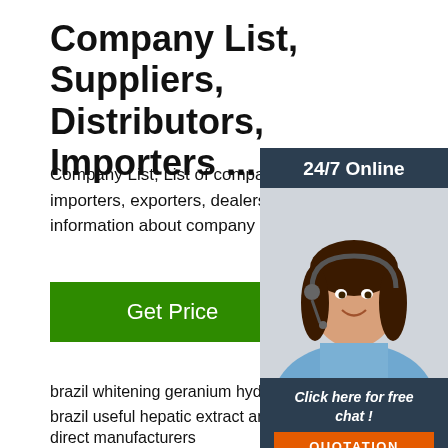Company List, Suppliers, Distributors, Importers ...
Company List, List of companies, suppliers, distributors, importers, exporters, dealers, manufacturers. Business information about company profile, email, tel, phone...
[Figure (other): Green 'Get Price' button]
[Figure (photo): Woman with headset, 24/7 Online support panel with 'Click here for free chat!' and QUOTATION button]
brazil whitening geranium hydrosol factory direct...
brazil useful hepatic extract antitoxic fraction drying powder direct manufacturers
brazil tea tree essential oil daily use factory outlet
cambodia popular sheep liver extract drying powder business
cambodia immunity-enhancing fetal bovine liver extract factory direct sales